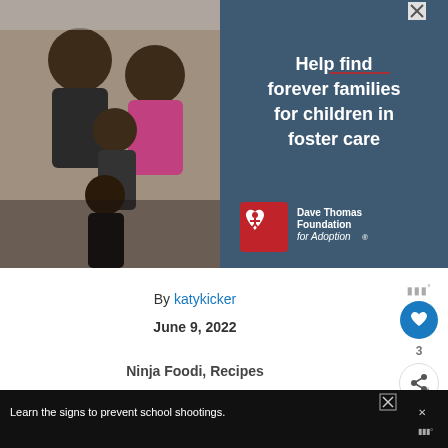[Figure (photo): Advertisement banner with a photo of a Black family (man, woman, and two children) smiling and embracing on the left side, and on the right a dark blue panel with white bold text 'Help find forever families for children in foster care' and the Dave Thomas Foundation for Adoption logo at the bottom right. A close/X button appears in the top right corner.]
By katykicker
June 9, 2022
Ninja Foodi, Recipes
[Figure (infographic): Bottom advertisement bar with dark background showing 'Learn the signs to prevent school shootings.' with Sandy Hook Promise logo.]